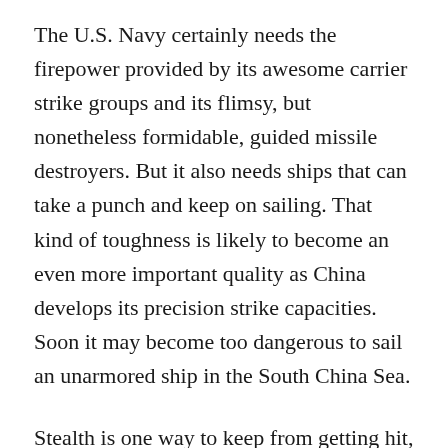The U.S. Navy certainly needs the firepower provided by its awesome carrier strike groups and its flimsy, but nonetheless formidable, guided missile destroyers. But it also needs ships that can take a punch and keep on sailing. That kind of toughness is likely to become an even more important quality as China develops its precision strike capacities. Soon it may become too dangerous to sail an unarmored ship in the South China Sea.
Stealth is one way to keep from getting hit, and the United States leads the way in the development of stealthy destroyers. But stealth defeats the purpose of a FONOP, which is to be